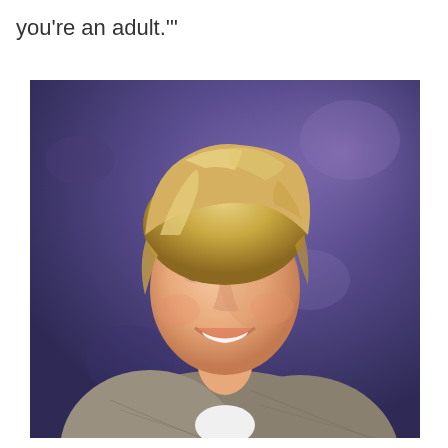you're an adult.'"
[Figure (photo): A young man with blonde hair smiling, wearing a grey/beige plaid blazer over a white shirt, photographed against a purple/blue mottled studio background. The photo appears to be from the 1990s.]